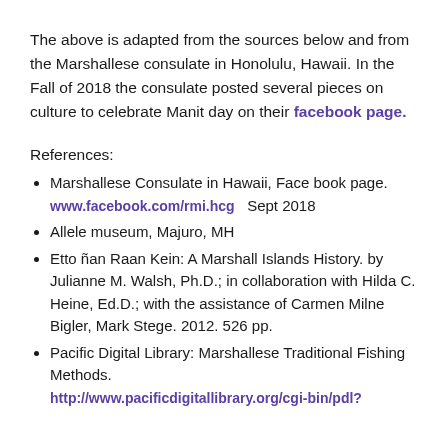The above is adapted from the sources below and from the Marshallese consulate in Honolulu, Hawaii.  In the Fall of 2018 the consulate posted several pieces on culture to celebrate Manit day on their facebook page.
References:
Marshallese Consulate in Hawaii,  Face book page. www.facebook.com/rmi.hcg   Sept 2018
Allele museum, Majuro, MH
Etto ñan Raan Kein: A Marshall Islands History.  by Julianne M. Walsh, Ph.D.; in collaboration with Hilda C. Heine, Ed.D.; with the assistance of Carmen Milne Bigler, Mark Stege. 2012. 526 pp.
Pacific Digital Library:  Marshallese Traditional Fishing Methods. http://www.pacificdigitallibrary.org/cgi-bin/pdl?